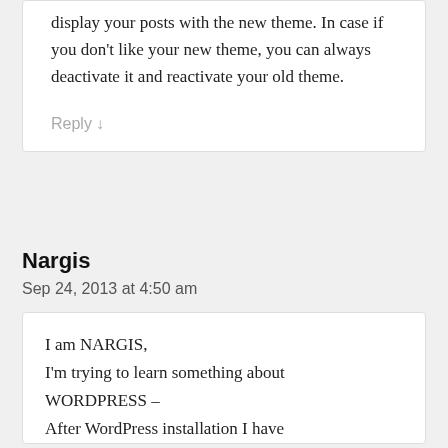display your posts with the new theme. In case if you don't like your new theme, you can always deactivate it and reactivate your old theme.
Reply ↓
Nargis
Sep 24, 2013 at 4:50 am
I am NARGIS, I'm trying to learn something about WORDPRESS – After WordPress installation I have